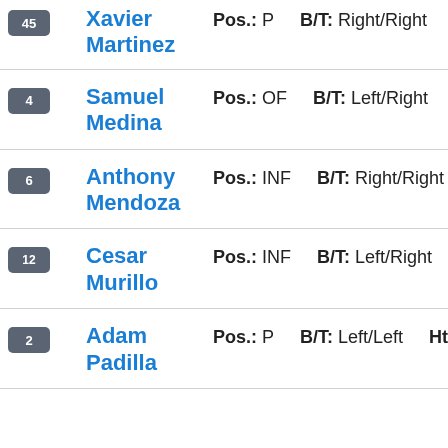45 Xavier Martinez Pos.: P B/T: Right/Right Ht.: 6'...
4 Samuel Medina Pos.: OF B/T: Left/Right Ht.: 6'...
6 Anthony Mendoza Pos.: INF B/T: Right/Right Ht.: 5'...
12 Cesar Murillo Pos.: INF B/T: Left/Right Ht.: 6'...
2 Adam Padilla Pos.: P B/T: Left/Left Ht.: 5'8...